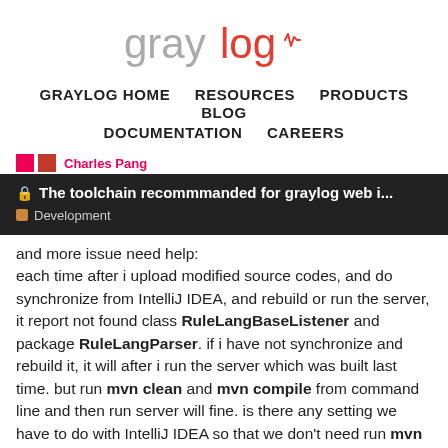[Figure (logo): Graylog logo — 'gray' in gray and 'log' in red with a heartbeat icon inside the 'o']
GRAYLOG HOME   RESOURCES   PRODUCTS   BLOG   DOCUMENTATION   CAREERS
The toolchain recommmanded for graylog web i...   Development
and more issue need help: each time after i upload modified source codes, and do synchronize from IntelliJ IDEA, and rebuild or run the server, it report not found class RuleLangBaseListener and package RuleLangParser. if i have not synchronize and rebuild it, it will after i run the server which was built last time. but run mvn clean and mvn compile from command line and then run server will fine. is there any setting we have to do with IntelliJ IDEA so that we don't need run mvn clean and mvn compile after codes modified ?